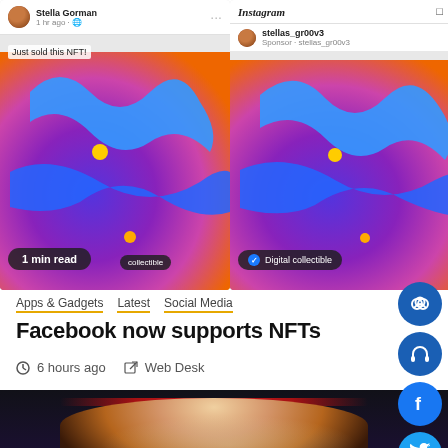[Figure (screenshot): Two side-by-side screenshots: left shows a Facebook post by Stella Gorman saying 'Just sold this NFT!' with an NFT digital artwork image and '1 min read' badge; right shows an Instagram post by stellas_gr00v3 (Sponsored) showing the same digital artwork with 'Digital collectible' badge.]
Apps & Gadgets   Latest   Social Media
Facebook now supports NFTs
🕐 6 hours ago   ✏ Web Desk
[Figure (photo): Photo of a woman in a sparkly silver outfit performing or celebrating at what appears to be an awards show, with a red light bar visible in the background.]